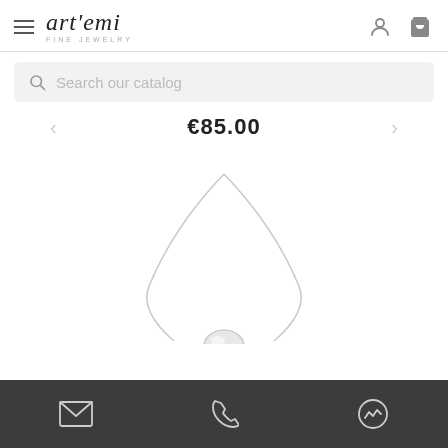art'emi FINE JEWELRY
Search our catalog
€85.00
[Figure (photo): Silver necklace with oval pendant displayed on white background]
Contact icons: email, phone, messenger